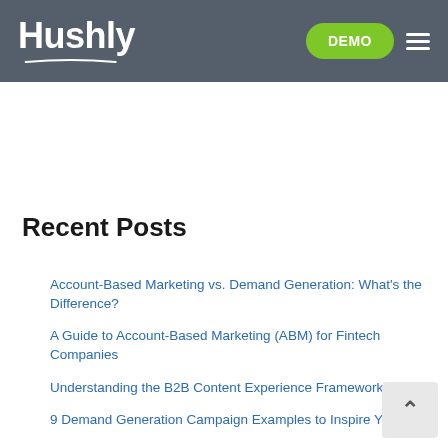Hushly — DEMO navigation
Recent Posts
Account-Based Marketing vs. Demand Generation: What's the Difference?
A Guide to Account-Based Marketing (ABM) for Fintech Companies
Understanding the B2B Content Experience Framework
9 Demand Generation Campaign Examples to Inspire Yo
ABM vs. ABX: Their Similarities and Differences